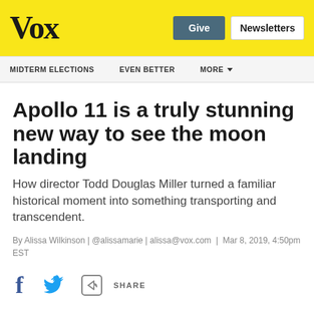Vox | Give | Newsletters
MIDTERM ELECTIONS | EVEN BETTER | MORE
Apollo 11 is a truly stunning new way to see the moon landing
How director Todd Douglas Miller turned a familiar historical moment into something transporting and transcendent.
By Alissa Wilkinson | @alissamarie | alissa@vox.com | Mar 8, 2019, 4:50pm EST
[Figure (infographic): Social sharing icons: Facebook, Twitter, and Share button]